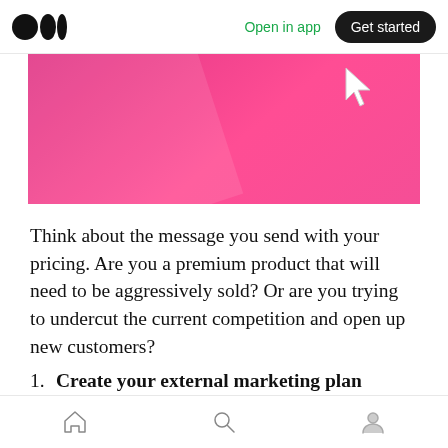Open in app  Get started
[Figure (illustration): Pink/magenta rectangular banner image with a diagonal light reflection. A white cursor/arrow icon is visible in the upper-right corner of the image area.]
Think about the message you send with your pricing. Are you a premium product that will need to be aggressively sold? Or are you trying to undercut the current competition and open up new customers?
1. Create your external marketing plan
What sort of external marketing are you going to
Home  Search  Profile